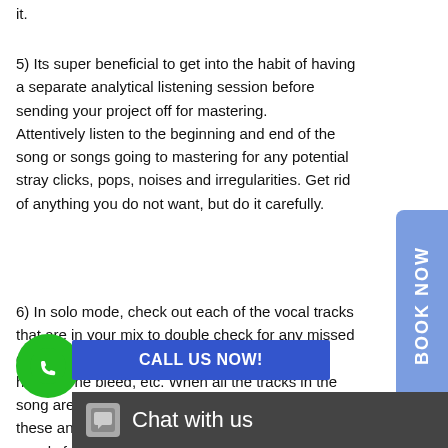it.
5) Its super beneficial to get into the habit of having a separate analytical listening session before sending your project off for mastering. Attentively listen to the beginning and end of the song or songs going to mastering for any potential stray clicks, pops, noises and irregularities. Get rid of anything you do not want, but do it carefully.
6) In solo mode, check out each of the vocal tracks that are in your mix to double check for any missed garbage like clicks, pops, thumps, plosives, headphone bleed, etc. When all the tracks in the song are playing together, it might be tough to hear these anomalies in the mix. In our experience, vocals frequently are the cause of most undesirable noises in a track. Also check for things like bad edits or crossfades that could potentially cause noise and clicks. These irregularities aren’t always easy to hear prior to mastering mix when the mix engine